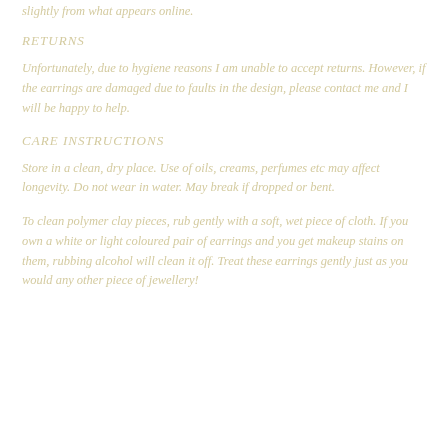slightly from what appears online.
RETURNS
Unfortunately, due to hygiene reasons I am unable to accept returns. However, if the earrings are damaged due to faults in the design, please contact me and I will be happy to help.
CARE INSTRUCTIONS
Store in a clean, dry place. Use of oils, creams, perfumes etc may affect longevity. Do not wear in water. May break if dropped or bent.
To clean polymer clay pieces, rub gently with a soft, wet piece of cloth. If you own a white or light coloured pair of earrings and you get makeup stains on them, rubbing alcohol will clean it off. Treat these earrings gently just as you would any other piece of jewellery!